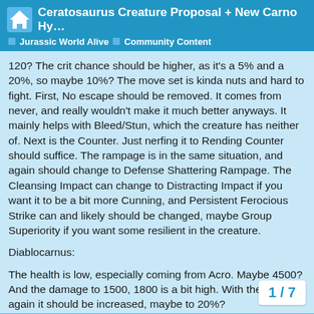Ceratosaurus Creature Proposal + New Carno Hy… | Jurassic World Alive | Community Content
120? The crit chance should be higher, as it's a 5% and a 20%, so maybe 10%? The move set is kinda nuts and hard to fight. First, No escape should be removed. It comes from never, and really wouldn't make it much better anyways. It mainly helps with Bleed/Stun, which the creature has neither of. Next is the Counter. Just nerfing it to Rending Counter should suffice. The rampage is in the same situation, and again should change to Defense Shattering Rampage. The Cleansing Impact can change to Distracting Impact if you want it to be a bit more Cunning, and Persistent Ferocious Strike can and likely should be changed, maybe Group Superiority if you want some resilient in the creature.
Diablocarnus:
The health is low, especially coming from Acro. Maybe 4500? And the damage to 1500, 1800 is a bit high. With the Crit, again it should be increased, maybe to 20%? Sp a bit, maybe to 114-116? With the move s
1 / 7